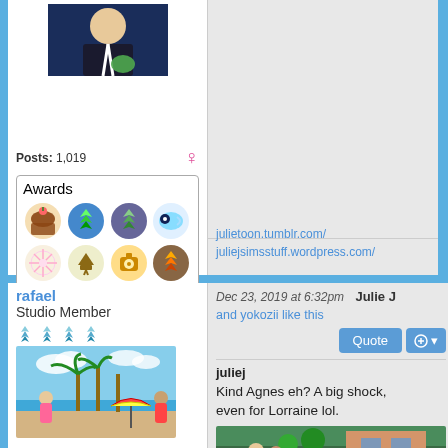Posts: 1,019
[Figure (infographic): Awards section showing 8 award icons in a 4x2 grid including cake, Sims plumbob, eye, flower, gavel, camera, and globe icons]
julietoon.tumblr.com/
juliejsimsstuff.wordpress.com/
rafael
Studio Member
[Figure (photo): Beach scene with two female avatars in swimwear, palm trees, and a colorful beach umbrella]
Dec 23, 2019 at 6:32pm   Julie J
and yokozii like this
juliej
Kind Agnes eh? A big shock, even for Lorraine lol.
[Figure (screenshot): Screenshot from The Sims game showing characters near a building with greenery]